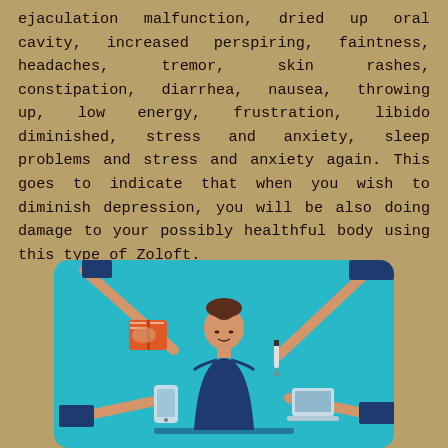ejaculation malfunction, dried up oral cavity, increased perspiring, faintness, headaches, tremor, skin rashes, constipation, diarrhea, nausea, throwing up, low energy, frustration, libido diminished, stress and anxiety, sleep problems and stress and anxiety again. This goes to indicate that when you wish to diminish depression, you will be also doing damage to your possibly healthful body using this type of Zoloft.
[Figure (illustration): Illustration of a woman meditating or overwhelmed at the center with multiple arms around her holding various items: a book, a phone, a pen/pencil, and a laptop, against a teal/blue background.]